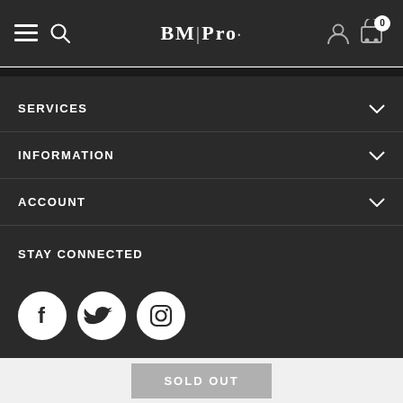BM|Pro
SERVICES
INFORMATION
ACCOUNT
STAY CONNECTED
[Figure (other): Social media icons: Facebook, Twitter, Instagram]
SIGN UP FOR OUR NEWSLETTER
SOLD OUT